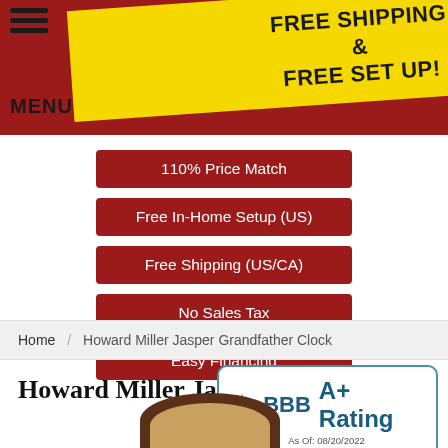FREE SHIPPING & FREE SET UP!
110% Price Match
Free In-Home Setup (US)
Free Shipping (US/CA)
No Sales Tax
Easy Financing
Home / Howard Miller Jasper Grandfather Clock
Howard Miller Jaspe
[Figure (logo): BBB A+ Rating badge, As Of: 08/20/2022, View BBB Business Review]
[Figure (photo): Partial top view of Howard Miller Jasper Grandfather Clock]